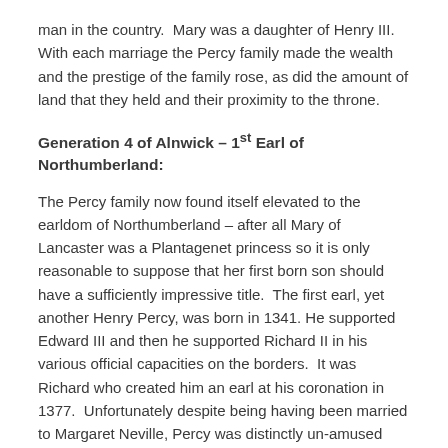man in the country.  Mary was a daughter of Henry III.  With each marriage the Percy family made the wealth and the prestige of the family rose, as did the amount of land that they held and their proximity to the throne.
Generation 4 of Alnwick – 1st Earl of Northumberland:
The Percy family now found itself elevated to the earldom of Northumberland – after all Mary of Lancaster was a Plantagenet princess so it is only reasonable to suppose that her first born son should have a sufficiently impressive title.  The first earl, yet another Henry Percy, was born in 1341. He supported Edward III and then he supported Richard II in his various official capacities on the borders.  It was Richard who created him an earl at his coronation in 1377.  Unfortunately despite being having been married to Margaret Neville, Percy was distinctly un-amused when his power base was eroded by Richard II who created his rival (and nephew-in-law) Ralph Neville the earl of Westmorland.  The First Earl of Northumberland now had a hissy fit because of the creation of the First Earl of Westmorland. He swapped sides. Instead of backing Richard II against his enemies he